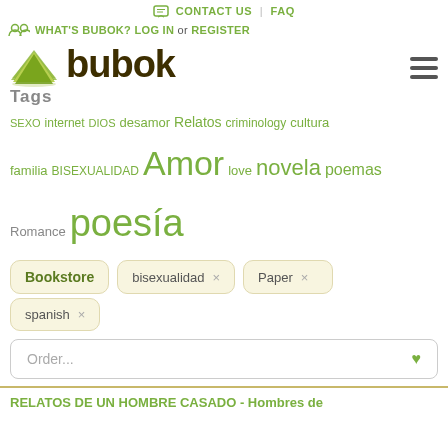CONTACT US | FAQ
WHAT'S BUBOK? LOG IN or REGISTER
bubok
Tags
SEXO internet DIOS desamor Relatos criminology cultura familia BISEXUALIDAD Amor love novela poemas Romance poesía
Bookstore
bisexualidad ×
Paper ×
spanish ×
Order...
RELATOS DE UN HOMBRE CASADO - Hombres de